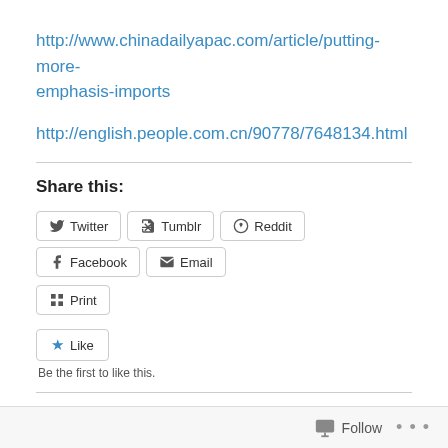http://www.chinadailyapac.com/article/putting-more-emphasis-imports
http://english.people.com.cn/90778/7648134.html
Share this:
Twitter
Tumblr
Reddit
Facebook
Email
Print
Like
Be the first to like this.
Related